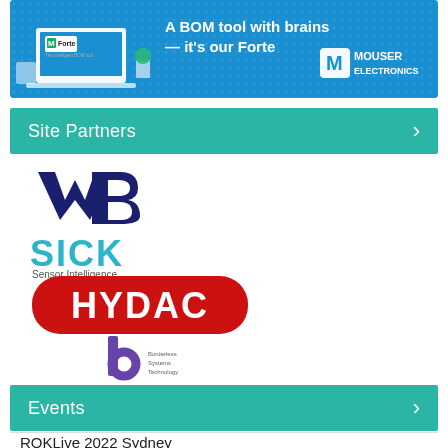[Figure (illustration): Mouser Electronics advertisement banner featuring M Forte BOM tool with laptop image and Mouser Electronics logo on blue background. Headline: A BOM tool with brains — it's our Forte]
Site Partners
[Figure (logo): WB (Warner Brothers style) dark blue logo with stylized W and B]
[Figure (logo): SICK Sensor Intelligence logo in teal/blue text]
[Figure (logo): HYDAC logo in white text on red rounded rectangle background]
[Figure (logo): Borderless Systems Technology (b) logo in purple with company name]
Events
ROKLive 2022 Sydney